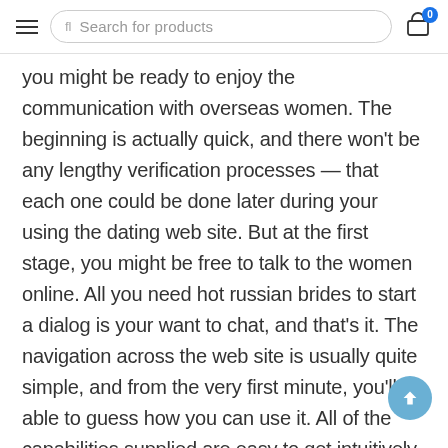Search for products | Cart (0)
you might be ready to enjoy the communication with overseas women. The beginning is actually quick, and there won't be any lengthy verification processes — that each one could be done later during your using the dating web site. But at the first stage, you might be free to talk to the women online. All you need hot russian brides to start a dialog is your want to chat, and that's it. The navigation across the web site is usually quite simple, and from the very first minute, you'll be able to guess how you can use it. All of the capabilities supplied are easy to get intuitively, so mail order bride sites welcome you aboard proper after the registration.